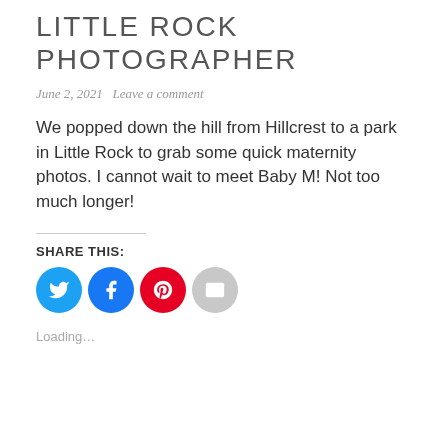LITTLE ROCK PHOTOGRAPHER
June 2, 2021   Leave a comment
We popped down the hill from Hillcrest to a park in Little Rock to grab some quick maternity photos. I cannot wait to meet Baby M! Not too much longer!
SHARE THIS:
[Figure (other): Social share buttons: Twitter, Facebook, Pinterest, Email]
Loading...